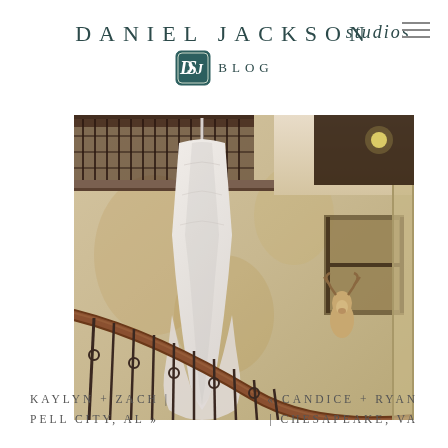DANIEL JACKSON studios BLOG
[Figure (photo): A white wedding dress hanging from a wrought-iron railing in a rustic interior with textured walls and a deer head mount visible in the background, staircase railing in foreground.]
KAYLYN + ZACH | PELL CITY, AL »
« CANDICE + RYAN | CHESAPEAKE, VA